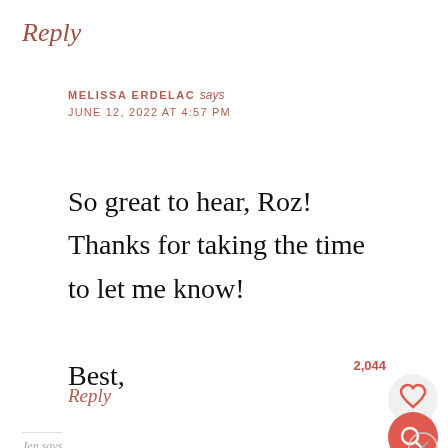Reply
MELISSA ERDELAC says
JUNE 12, 2022 AT 4:57 PM
So great to hear, Roz! Thanks for taking the time to let me know!

Best,

Melissa
2,044
Reply
Jen says
MAY 1, 2022 AT 12:33 PM